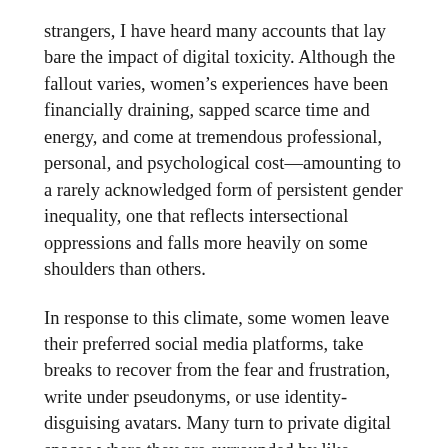strangers, I have heard many accounts that lay bare the impact of digital toxicity. Although the fallout varies, women's experiences have been financially draining, sapped scarce time and energy, and come at tremendous professional, personal, and psychological cost—amounting to a rarely acknowledged form of persistent gender inequality, one that reflects intersectional oppressions and falls more heavily on some shoulders than others.
In response to this climate, some women leave their preferred social media platforms, take breaks to recover from the fear and frustration, write under pseudonyms, or use identity-disguising avatars. Many turn to private digital spaces where they are surrounded by like-minded and supportive peers. These spaces are deeply meaningful and may themselves foment great political dialogue, energy, and involvement, but to the extent that these enclaves